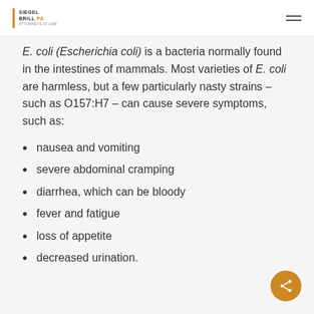Siegel Brill PA
E. coli (Escherichia coli) is a bacteria normally found in the intestines of mammals. Most varieties of E. coli are harmless, but a few particularly nasty strains – such as O157:H7 – can cause severe symptoms, such as:
nausea and vomiting
severe abdominal cramping
diarrhea, which can be bloody
fever and fatigue
loss of appetite
decreased urination.